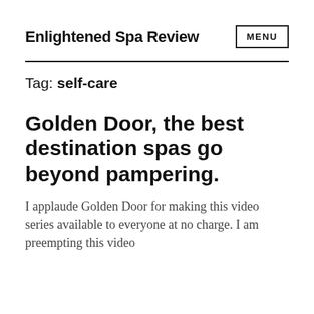Enlightened Spa Review  MENU
Tag: self-care
Golden Door, the best destination spas go beyond pampering.
I applaude Golden Door for making this video series available to everyone at no charge. I am preempting this video